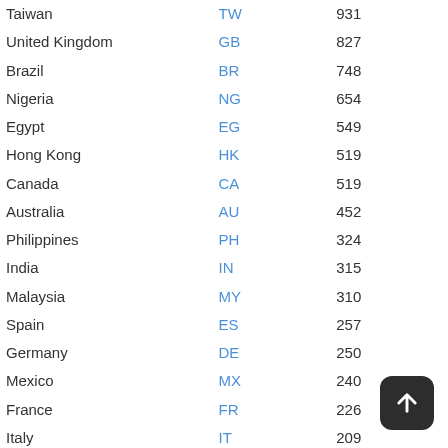| Country | Code | Count |
| --- | --- | --- |
| Taiwan | TW | 931 |
| United Kingdom | GB | 827 |
| Brazil | BR | 748 |
| Nigeria | NG | 654 |
| Egypt | EG | 549 |
| Hong Kong | HK | 519 |
| Canada | CA | 519 |
| Australia | AU | 452 |
| Philippines | PH | 324 |
| India | IN | 315 |
| Malaysia | MY | 310 |
| Spain | ES | 257 |
| Germany | DE | 250 |
| Mexico | MX | 240 |
| France | FR | 226 |
| Italy | IT | 209 |
| Turkey | TR | 192 |
| Iraq | IQ | 175 |